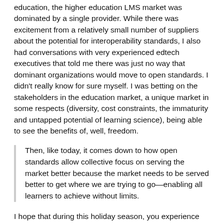education, the higher education LMS market was dominated by a single provider. While there was excitement from a relatively small number of suppliers about the potential for interoperability standards, I also had conversations with very experienced edtech executives that told me there was just no way that dominant organizations would move to open standards. I didn't really know for sure myself. I was betting on the stakeholders in the education market, a unique market in some respects (diversity, cost constraints, the immaturity and untapped potential of learning science), being able to see the benefits of, well, freedom.
Then, like today, it comes down to how open standards allow collective focus on serving the market better because the market needs to be served better to get where we are trying to go—enabling all learners to achieve without limits.
I hope that during this holiday season, you experience the